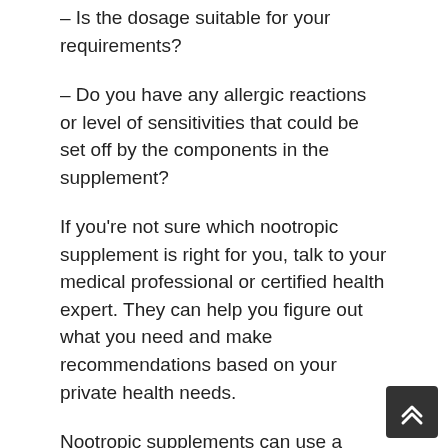– Is the dosage suitable for your requirements?
– Do you have any allergic reactions or level of sensitivities that could be set off by the components in the supplement?
If you're not sure which nootropic supplement is right for you, talk to your medical professional or certified health expert. They can help you figure out what you need and make recommendations based on your private health needs.
Nootropic supplements can use a range of advantages, from improved cognitive function to increased energy levels. When selecting a supplement, it's essential to consider your private requirements and goals.
CAN NOOTROPICS HELP TO